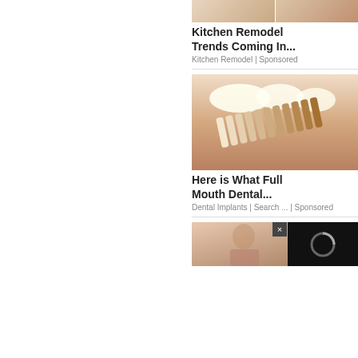[Figure (photo): Two kitchen remodel thumbnail images side by side at top]
Kitchen Remodel Trends Coming In...
Kitchen Remodel | Sponsored
[Figure (photo): Close-up photo of a smile with dental shade guide tabs in foreground]
Here is What Full Mouth Dental...
Dental Implants | Search ... | Sponsored
[Figure (photo): Bottom image partially visible with a video overlay showing a spinner and close button]